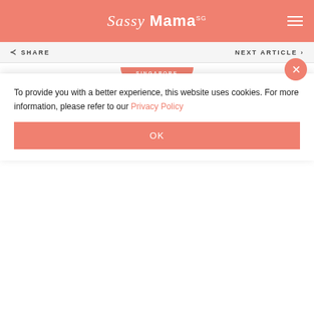Sassy Mama SG
SHARE  NEXT ARTICLE
[Figure (other): Singapore category badge - salmon/coral half-circle pill shape with text SINGAPORE]
Sassy Mama is the go-to guide for modern mamas. We scour, sweat and drag strollers through the mosquito-filled jungle, just to bring you the latest news on what’s hot (literally!) in the world of parenting in Singapore...
To provide you with a better experience, this website uses cookies. For more information, please refer to our Privacy Policy
OK